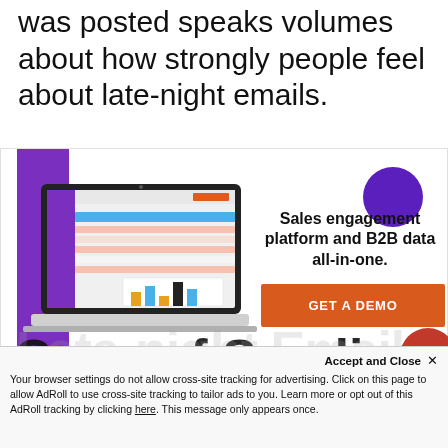was posted speaks volumes about how strongly people feel about late-night emails.
[Figure (infographic): Advertisement banner for a sales engagement platform. Left side has a purple vertical bar and a laptop screenshot showing a dashboard with bar charts. Right side has a purple decorative circle, headline text 'Sales engagement platform and B2B data all-in-one.', an orange 'GET A DEMO' button, and fine print 'Free, easy and user-friendly. No credit card or commitments.']
Cons of Sending
Accept and Close ×
Your browser settings do not allow cross-site tracking for advertising. Click on this page to allow AdRoll to use cross-site tracking to tailor ads to you. Learn more or opt out of this AdRoll tracking by clicking here. This message only appears once.